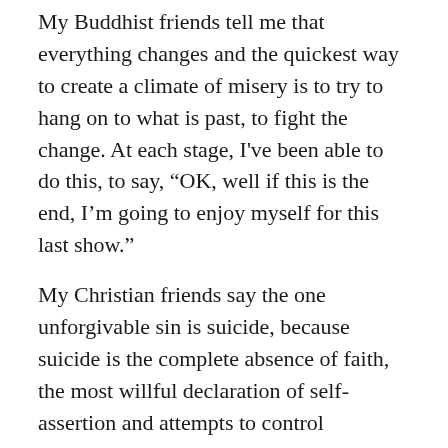My Buddhist friends tell me that everything changes and the quickest way to create a climate of misery is to try to hang on to what is past, to fight the change. At each stage, I've been able to do this, to say, “OK, well if this is the end, I'm going to enjoy myself for this last show.”
My Christian friends say the one unforgivable sin is suicide, because suicide is the complete absence of faith, the most willful declaration of self-assertion and attempts to control circumstances. Suicide is saying to the world, “I’m not able to live with this condition any longer. If it can’t be the way I want it, I quit.”
It’s never really the end.
In our own version of the never-ending tour, Katryna and I were in the middle of an ongoing conversation in the Van just last week.